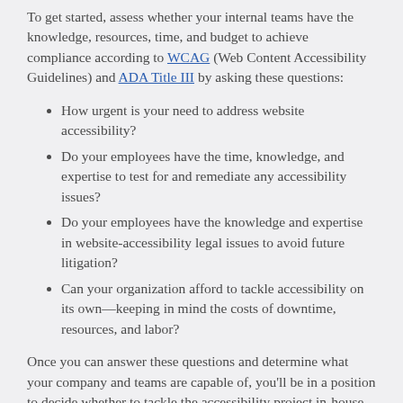To get started, assess whether your internal teams have the knowledge, resources, time, and budget to achieve compliance according to WCAG (Web Content Accessibility Guidelines) and ADA Title III by asking these questions:
How urgent is your need to address website accessibility?
Do your employees have the time, knowledge, and expertise to test for and remediate any accessibility issues?
Do your employees have the knowledge and expertise in website-accessibility legal issues to avoid future litigation?
Can your organization afford to tackle accessibility on its own—keeping in mind the costs of downtime, resources, and labor?
Once you can answer these questions and determine what your company and teams are capable of, you'll be in a position to decide whether to tackle the accessibility project in-house or pull in outside help.